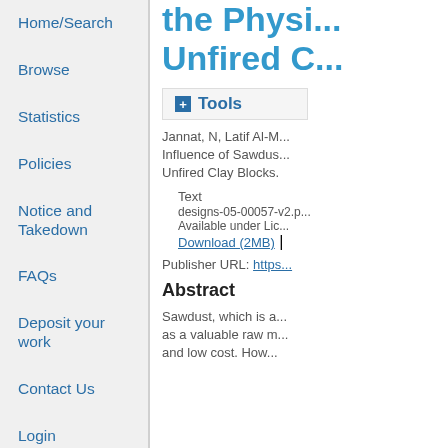Home/Search
Browse
Statistics
Policies
Notice and Takedown
FAQs
Deposit your work
Contact Us
Login
the Physi... Unfired C...
+ Tools
Jannat, N, Latif Al-M... Influence of Sawdus... Unfired Clay Blocks.
Text
designs-05-00057-v2.p...
Available under Lic...
Download (2MB) |
Publisher URL: https...
Abstract
Sawdust, which is a... as a valuable raw m... and low cost. How...